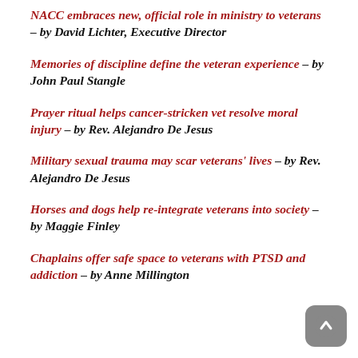NACC embraces new, official role in ministry to veterans – by David Lichter, Executive Director
Memories of discipline define the veteran experience – by John Paul Stangle
Prayer ritual helps cancer-stricken vet resolve moral injury – by Rev. Alejandro De Jesus
Military sexual trauma may scar veterans' lives – by Rev. Alejandro De Jesus
Horses and dogs help re-integrate veterans into society – by Maggie Finley
Chaplains offer safe space to veterans with PTSD and addiction – by Anne Millington